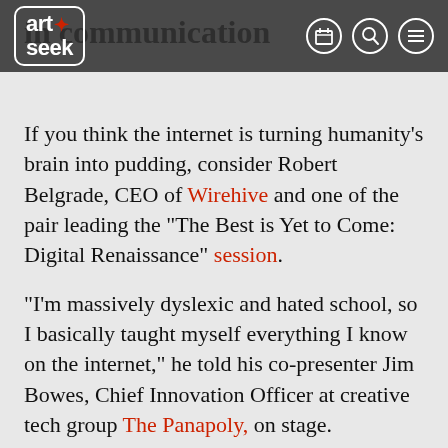in communication
art+seek [navigation bar with logo and icons]
If you think the internet is turning humanity’s brain into pudding, consider Robert Belgrade, CEO of Wirehive and one of the pair leading the “The Best is Yet to Come: Digital Renaissance” session.
“I’m massively dyslexic and hated school, so I basically taught myself everything I know on the internet,” he told his co-presenter Jim Bowes, Chief Innovation Officer at creative tech group The Panapoly, on stage.
Because connectivity aided his education, communication tech becoming more accessible